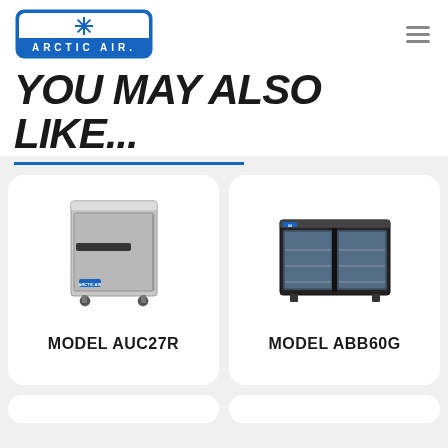[Figure (logo): Arctic Air brand logo with blue rounded rectangle and starburst/snowflake design above text ARCTIC AIR]
YOU MAY ALSO LIKE...
[Figure (photo): Stainless steel under-counter refrigerator unit with single door on wheels]
MODEL AUC27R
[Figure (photo): Black back bar cooler with two sliding glass doors showing interior shelving]
MODEL ABB60G